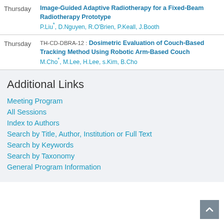Thursday — Image-Guided Adaptive Radiotherapy for a Fixed-Beam Radiotherapy Prototype. P.Liu*, D.Nguyen, R.O'Brien, P.Keall, J.Booth
Thursday — TH-CD-DBRA-12: Dosimetric Evaluation of Couch-Based Tracking Method Using Robotic Arm-Based Couch. M.Cho*, M.Lee, H.Lee, s.Kim, B.Cho
Additional Links
Meeting Program
All Sessions
Index to Authors
Search by Title, Author, Institution or Full Text
Search by Keywords
Search by Taxonomy
General Program Information